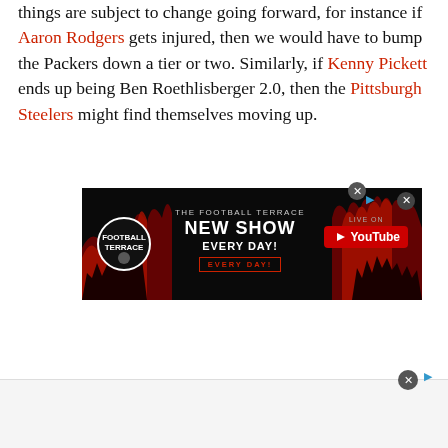things are subject to change going forward, for instance if Aaron Rodgers gets injured, then we would have to bump the Packers down a tier or two. Similarly, if Kenny Pickett ends up being Ben Roethlisberger 2.0, then the Pittsburgh Steelers might find themselves moving up.
[Figure (infographic): Advertisement banner for 'The Football Terrace New Show Every Day' live on YouTube, dark background with red flame graphics and crowd silhouettes.]